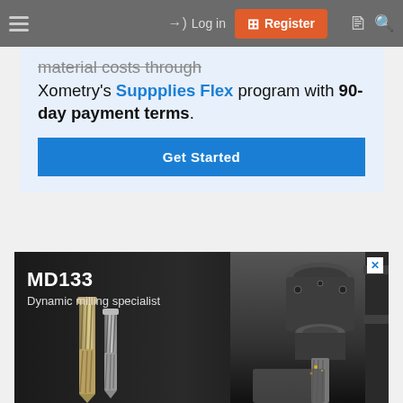≡  →] Log in  [+] Register  □  🔍
material costs through Xometry's Suppplies Flex program with 90-day payment terms.
Get Started
[Figure (photo): Advertisement banner for MD133 Dynamic milling specialist, showing two end mill cutting tools on the left and a CNC milling machine in operation on the right, dark background.]